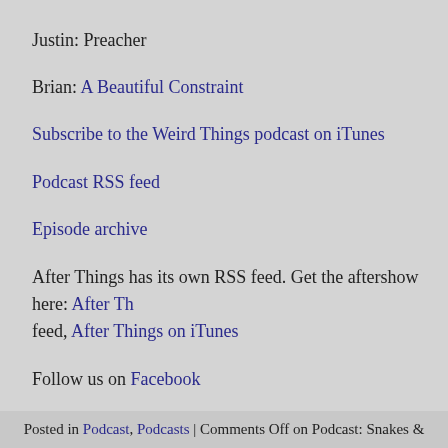Justin: Preacher
Brian: A Beautiful Constraint
Subscribe to the Weird Things podcast on iTunes
Podcast RSS feed
Episode archive
After Things has its own RSS feed. Get the aftershow here: After Things RSS feed, After Things on iTunes
Follow us on Facebook
Download url: http://www.itricks.com/upload/WeirdThings070316.m
Listen now
Posted in Podcast, Podcasts | Comments Off on Podcast: Snakes ...